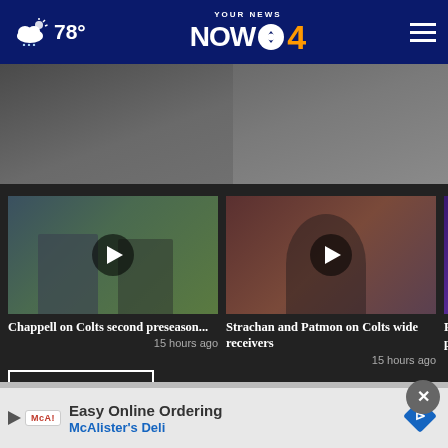78° YOUR NEWS NOW CBS 4
[Figure (photo): Two people on a football field sideline, one in a suit holding a microphone, one in a polo shirt]
[Figure (photo): Video thumbnail: Chappell on Colts second preseason game, two men on football field]
Chappell on Colts second preseason...
15 hours ago
[Figure (photo): Video thumbnail: Strachan and Patmon on Colts wide receivers, young man with curly hair in locker room]
Strachan and Patmon on Colts wide receivers
15 hours ago
[Figure (photo): Partial video thumbnail: Frank... prese...]
More Videos ›
Easy Online Ordering
McAlister's Deli